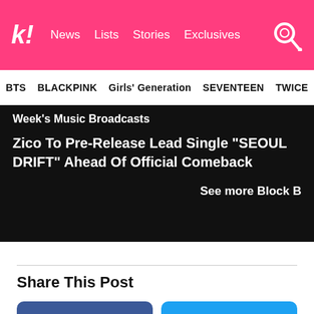k! News Lists Stories Exclusives
BTS BLACKPINK Girls' Generation SEVENTEEN TWICE
Week's Music Broadcasts
Zico To Pre-Release Lead Single “SEOUL DRIFT” Ahead Of Official Comeback
See more Block B
Share This Post
Facebook
Twitter